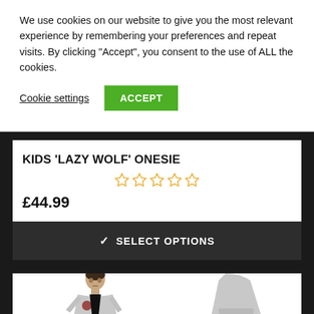We use cookies on our website to give you the most relevant experience by remembering your preferences and repeat visits. By clicking “Accept”, you consent to the use of ALL the cookies.
Cookie settings
ACCEPT
KIDS ‘LAZY WOLF’ ONESIE
★★★★★ (0 stars)
£44.99
✓ SELECT OPTIONS
[Figure (photo): Photo of a young man wearing a light grey zip-up hoodie with a logo, and partial view of a grey hoodie sleeve on the right side.]